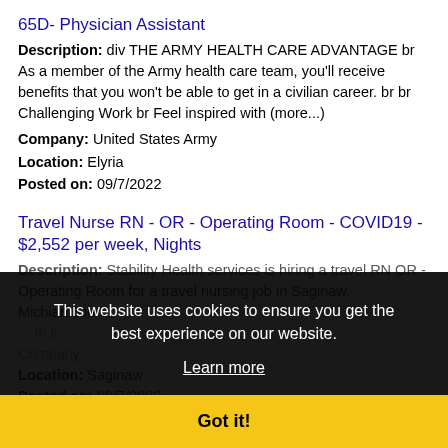65D- Physician Assistant
Description: div THE ARMY HEALTH CARE ADVANTAGE br As a member of the Army health care team, you'll receive benefits that you won't be able to get in a civilian career. br br Challenging Work br Feel inspired with (more...)
Company: United States Army
Location: Elyria
Posted on: 09/7/2022
Travel Nurse RN - OR - Operating Room - COVID19 - $2,552 per week, Nights
Description: Stability Health services is hiring a travel RN OR - Operating Room for a travel nursing job in Saginaw, Michigan.Job ... m li ... Company: ... Location: Saginaw ... Posted on: 09/7/2022
[Figure (screenshot): Cookie consent overlay with dark background showing message 'This website uses cookies to ensure you get the best experience on our website.' with 'Learn more' link and 'Got it!' button]
Description: Our Burger Kings franchisee is looking for responsible, experienced Managers to run our Burger King ... consistently provide amazing food and service to our Guests. Our